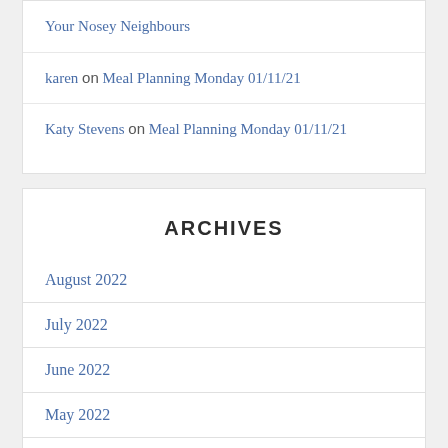Your Nosey Neighbours
karen on Meal Planning Monday 01/11/21
Katy Stevens on Meal Planning Monday 01/11/21
ARCHIVES
August 2022
July 2022
June 2022
May 2022
April 2022
March 2022